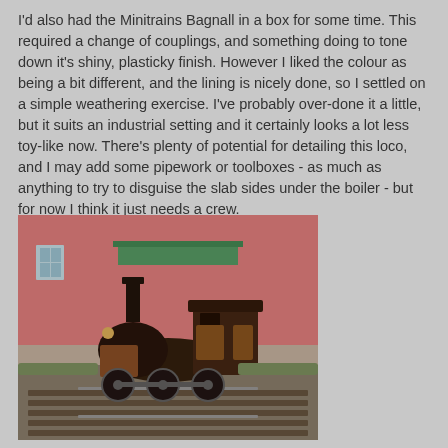I'd also had the Minitrains Bagnall in a box for some time. This required a change of couplings, and something doing to tone down it's shiny, plasticky finish. However I liked the colour as being a bit different, and the lining is nicely done, so I settled on a simple weathering exercise. I've probably over-done it a little, but it suits an industrial setting and it certainly looks a lot less toy-like now. There's plenty of potential for detailing this loco, and I may add some pipework or toolboxes - as much as anything to try to disguise the slab sides under the boiler - but for now I think it just needs a crew.
[Figure (photo): A model locomotive (Minitrains Bagnall) on a model railway track, weathered in brown/black finish, with a pink model building and green awning in the background.]